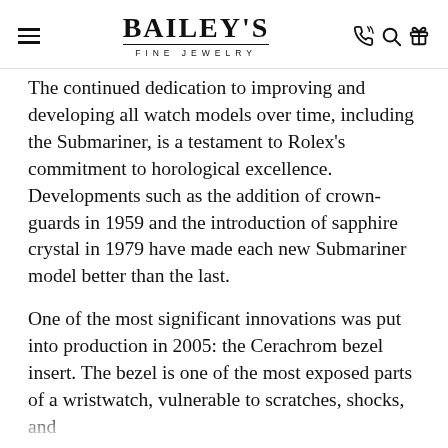BAILEY'S FINE JEWELRY
The continued dedication to improving and developing all watch models over time, including the Submariner, is a testament to Rolex's commitment to horological excellence. Developments such as the addition of crown-guards in 1959 and the introduction of sapphire crystal in 1979 have made each new Submariner model better than the last.
One of the most significant innovations was put into production in 2005: the Cerachrom bezel insert. The bezel is one of the most exposed parts of a wristwatch, vulnerable to scratches, shocks, and